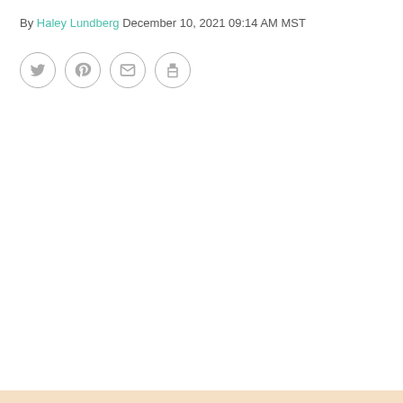By Haley Lundberg December 10, 2021 09:14 AM MST
[Figure (other): Row of four social sharing icon buttons in circles: Twitter bird, Pinterest P, email envelope, and print printer icons, all in light grey with grey circle borders]